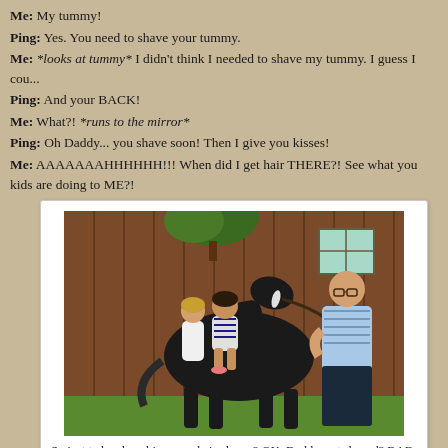Me: My tummy!
Ping: Yes. You need to shave your tummy.
Me: *looks at tummy* I didn't think I needed to shave my tummy. I guess I cou...
Ping: And your BACK!
Me: What?! *runs to the mirror*
Ping: Oh Daddy... you shave soon! Then I give you kisses!
Me: AAAAAAAHHHHHH!!! When did I get hair THERE?! See what you kids are doing to ME?!
[Figure (photo): A young girl sitting on a large black horse, with a woman standing behind and a bald man in a blue striped shirt holding the horse's lead, outdoors near a wooden barn wall.]
So just to be clear, big scary, hairy horse? OK. Daddy, not shaved? BAD.